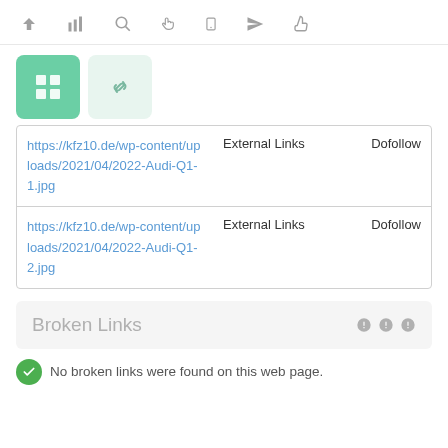[Figure (screenshot): Toolbar with navigation icons: up arrow, bar chart, search, hand pointer, mobile, send/navigate, thumbs up]
[Figure (screenshot): Tab bar with two icon tabs: active green tab with grid/hash icon, inactive light green tab with link/chain icon]
| URL | Type | Follow |
| --- | --- | --- |
| https://kfz10.de/wp-content/uploads/2021/04/2022-Audi-Q1-1.jpg | External Links | Dofollow |
| https://kfz10.de/wp-content/uploads/2021/04/2022-Audi-Q1-2.jpg | External Links | Dofollow |
Broken Links
No broken links were found on this web page.